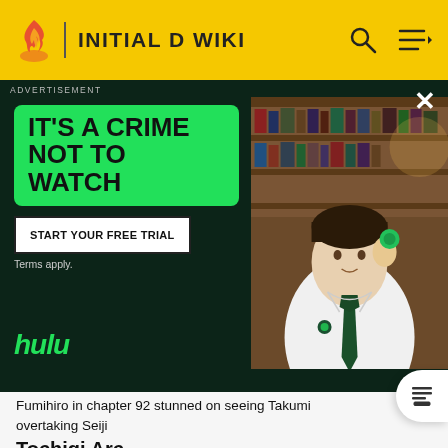INITIAL D WIKI
[Figure (screenshot): Hulu advertisement overlay on Initial D Wiki page. Green text box: IT'S A CRIME NOT TO WATCH. Button: START YOUR FREE TRIAL. Terms apply. Hulu logo. Photo of a person in a white shirt and tie holding something green.]
[Figure (illustration): Manga panel showing Fumihiro in chapter 92, black and white illustration, character stunned expression]
Fumihiro in chapter 92 stunned on seeing Takumi overtaking Seiji
Tochigi Arc
[Figure (illustration): Manga panel partially visible at bottom of page, black and white]